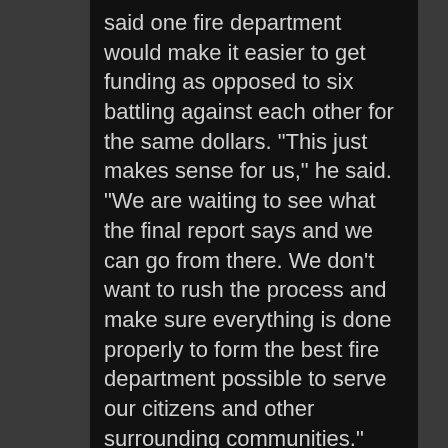said one fire department would make it easier to get funding as opposed to six battling against each other for the same dollars. "This just makes sense for us," he said. "We are waiting to see what the final report says and we can go from there. We don't want to rush the process and make sure everything is done properly to form the best fire department possible to serve our citizens and other surrounding communities."
Northumberland
In Northumberland, officials are also looking to consolidate the companies that serve the borough. An official legal agreement between the two fire companies has had no recent progress, Northumberland Borough Fire Chief Brian Ginck